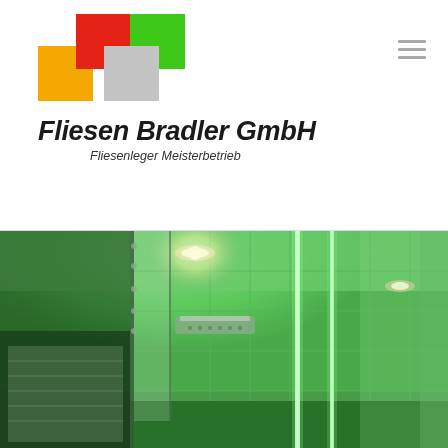[Figure (logo): Fliesen Bradler GmbH logo with four colored overlapping squares (orange, red, green, gray) above the company name in bold italic text]
Fliesen Bradler GmbH
Fliesenleger Meisterbetrieb
[Figure (photo): Interior bathroom/spa photo showing white tiled walls with green LED strip lighting running vertically, a recessed ceiling light, glass partition, and overhead shower unit]